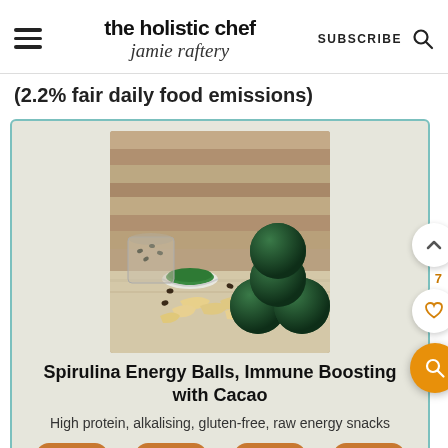the holistic chef | jamie raftery | SUBSCRIBE
(2.2% fair daily food emissions)
[Figure (photo): Photo of dark green spirulina energy balls stacked beside a bowl of green spirulina powder, cashew nuts, seeds, and coffee beans on a rustic wooden background]
Spirulina Energy Balls, Immune Boosting with Cacao
High protein, alkalising, gluten-free, raw energy snacks